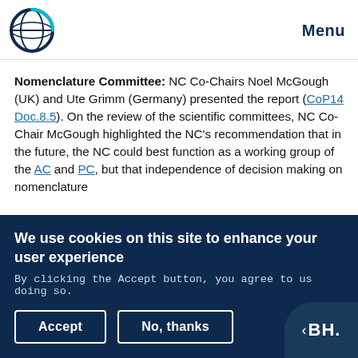Menu
Nomenclature Committee: NC Co-Chairs Noel McGough (UK) and Ute Grimm (Germany) presented the report (CoP14 Doc.8.5). On the review of the scientific committees, NC Co-Chair McGough highlighted the NC's recommendation that in the future, the NC could best function as a working group of the AC and PC, but that independence of decision making on nomenclature
We use cookies on this site to enhance your user experience
By clicking the Accept button, you agree to us doing so.
Accept
No, thanks